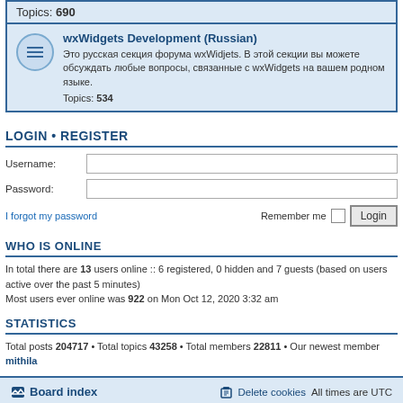Topics: 690
wxWidgets Development (Russian)
Это русская секция форума wxWidjets. В этой секции вы можете обсуждать любые вопросы, связанные с wxWidgets на вашем родном языке.
Topics: 534
LOGIN • REGISTER
Username:
Password:
I forgot my password
Remember me Login
WHO IS ONLINE
In total there are 13 users online :: 6 registered, 0 hidden and 7 guests (based on users active over the past 5 minutes)
Most users ever online was 922 on Mon Oct 12, 2020 3:32 am
STATISTICS
Total posts 204717 • Total topics 43258 • Total members 22811 • Our newest member mithila
Board index   Delete cookies   All times are UTC
Powered by phpBB® Forum Software © phpBB Limited
Privacy | Terms